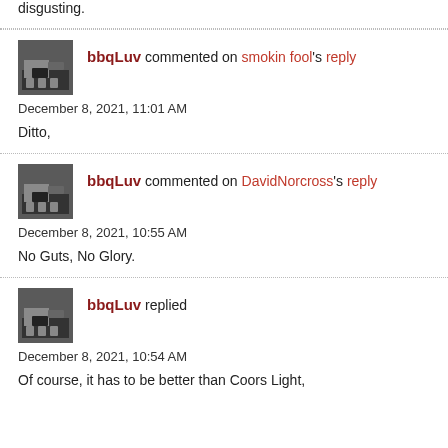disgusting.
bbqLuv commented on smokin fool's reply
December 8, 2021, 11:01 AM
Ditto,
bbqLuv commented on DavidNorcross's reply
December 8, 2021, 10:55 AM
No Guts, No Glory.
bbqLuv replied
December 8, 2021, 10:54 AM
Of course, it has to be better than Coors Light,